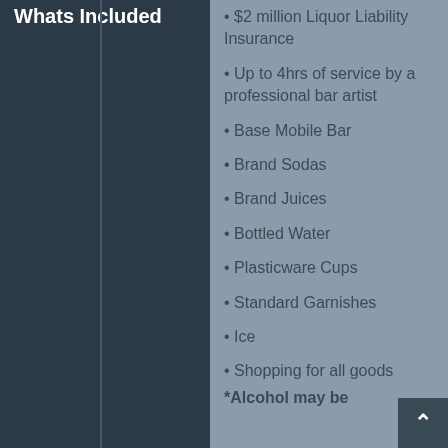Whats Included
• $2 million Liquor Liability Insurance
• Up to 4hrs of service by a professional bar artist
• Base Mobile Bar
• Brand Sodas
• Brand Juices
• Bottled Water
• Plasticware Cups
• Standard Garnishes
• Ice
• Shopping for all goods
*Alcohol may be